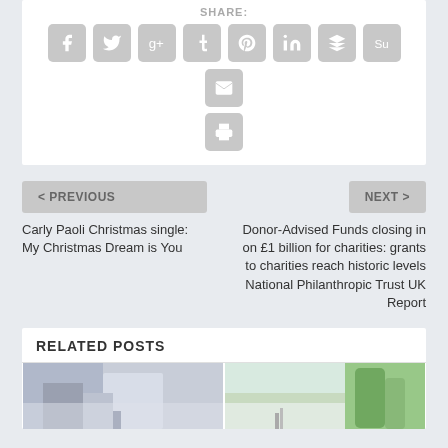SHARE:
[Figure (other): Social media share buttons: Facebook, Twitter, Google+, Tumblr, Pinterest, LinkedIn, Buffer, StumbleUpon, Email, Print]
< PREVIOUS
Carly Paoli Christmas single: My Christmas Dream is You
NEXT >
Donor-Advised Funds closing in on £1 billion for charities: grants to charities reach historic levels National Philanthropic Trust UK Report
RELATED POSTS
[Figure (photo): Two partial images of buildings/outdoor scenes at the bottom of the page]